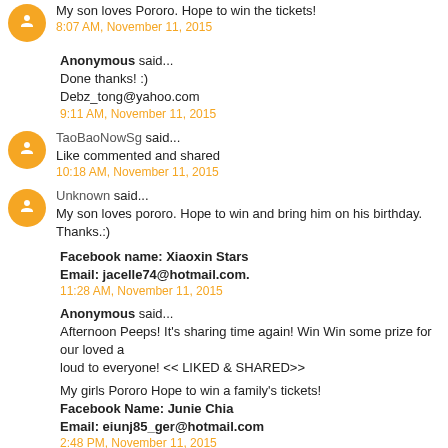My son loves Pororo. Hope to win the tickets!
8:07 AM, November 11, 2015
Anonymous said...
Done thanks! :)
Debz_tong@yahoo.com
9:11 AM, November 11, 2015
TaoBaoNowSg said...
Like commented and shared
10:18 AM, November 11, 2015
Unknown said...
My son loves pororo. Hope to win and bring him on his birthday. Thanks.:)
Facebook name: Xiaoxin Stars
Email: jacelle74@hotmail.com.
11:28 AM, November 11, 2015
Anonymous said...
Afternoon Peeps! It's sharing time again! Win Win some prize for our loved a loud to everyone! <<LIKED & SHARED>>
My girls Pororo Hope to win a family's tickets!
Facebook Name: Junie Chia
Email: eiunj85_ger@hotmail.com
2:48 PM, November 11, 2015
The Happy Lim Family said...